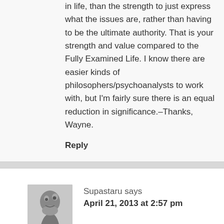in life, than the strength to just express what the issues are, rather than having to be the ultimate authority. That is your strength and value compared to the Fully Examined Life. I know there are easier kinds of philosophers/psychoanalysts to work with, but I'm fairly sure there is an equal reduction in significance.–Thanks, Wayne.
Reply
Supastaru says
April 21, 2013 at 2:57 pm
I recently discovered PEL and have been